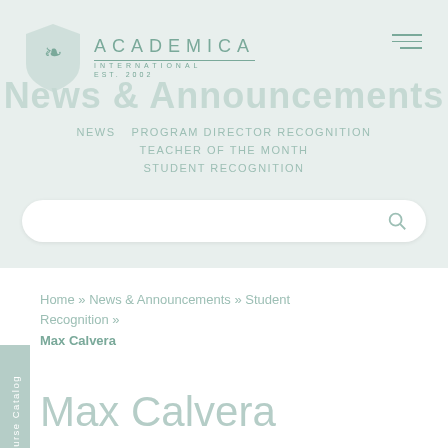[Figure (logo): Academica International shield logo with thistle emblem]
ACADEMICA INTERNATIONAL
News & Announcements
NEWS
PROGRAM DIRECTOR RECOGNITION
TEACHER OF THE MONTH
STUDENT RECOGNITION
Home » News & Announcements » Student Recognition »
Max Calvera
Max Calvera